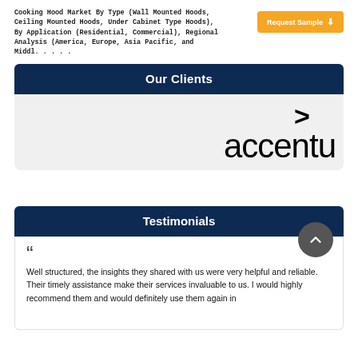Cooking Hood Market By Type (Wall Mounted Hoods, Ceiling Mounted Hoods, Under Cabinet Type Hoods), By Application (Residential, Commercial), Regional Analysis (America, Europe, Asia Pacific, and Middl. . . . .
[Figure (logo): Accenture logo with chevron symbol above the word 'accentu' (partially cropped), black on light gray background]
Our Clients
Testimonials
Well structured, the insights they shared with us were very helpful and reliable. Their timely assistance make their services invaluable to us. I would highly recommend them and would definitely use them again in